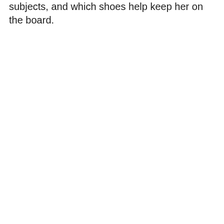subjects, and which shoes help keep her on the board.